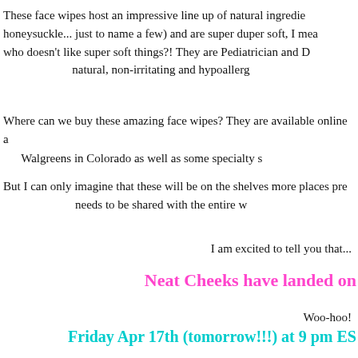These face wipes host an impressive line up of natural ingredients (chamomile, honeysuckle... just to name a few) and are super duper soft, I mean who doesn't like super soft things?! They are Pediatrician and Dermatologist tested, natural, non-irritating and hypoallergenic.
Where can we buy these amazing face wipes? They are available online and at Walgreens in Colorado as well as some specialty stores.
But I can only imagine that these will be on the shelves more places pretty soon, this product needs to be shared with the entire world!
I am excited to tell you that...
Neat Cheeks have landed on
Woo-hoo!
Friday Apr 17th (tomorrow!!!) at 9 pm EST
Does Neat Cheeks have what it takes to make a shark smile? We think so! We are rooting for them to make a deal with Lori (since she's me favorite lol) and I can't wait to tune in!